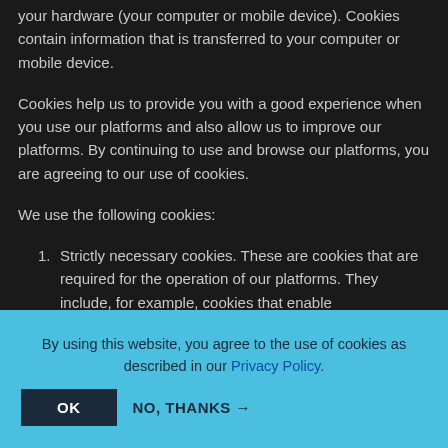your hardware (your computer or mobile device). Cookies contain information that is transferred to your computer or mobile device.
Cookies help us to provide you with a good experience when you use our platforms and also allow us to improve our platforms. By continuing to use and browse our platforms, you are agreeing to our use of cookies.
We use the following cookies:
1. Strictly necessary cookies. These are cookies that are required for the operation of our platforms. They include, for example, cookies that enable
By using this website, you agree to the use of cookies as described in our Privacy Policy.